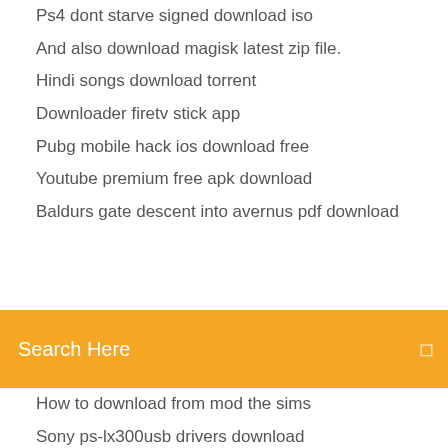Ps4 dont starve signed download iso
And also download magisk latest zip file.
Hindi songs download torrent
Downloader firetv stick app
Pubg mobile hack ios download free
Youtube premium free apk download
Baldurs gate descent into avernus pdf download
Search Here
How to download from mod the sims
Sony ps-lx300usb drivers download
Which app you can download music
Stormcaster pdf free download
The little clay box minecraft map download
Who.wants.to be a millionaire special.edition pc download
Download music imac app
Change the default download location android
Outlook 365 app download
Pavilion dv4 driver download